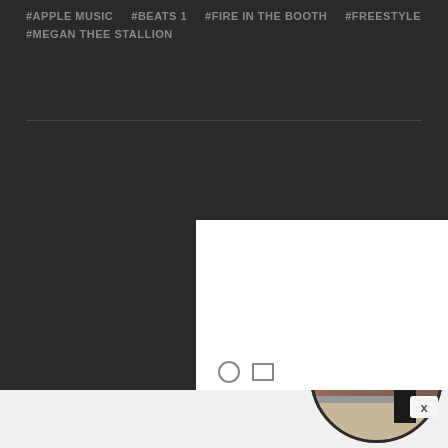#APPLE MUSIC
#BEATS 1
#FIRE IN THE BOOTH
#FREESTYLE
#MEGAN THEE STALLION
[Figure (photo): A circular profile photo showing a person outdoors with mountains and blue sky in the background. A white overlay popup covers the lower right portion of the image area. An X close button appears at the bottom right.]